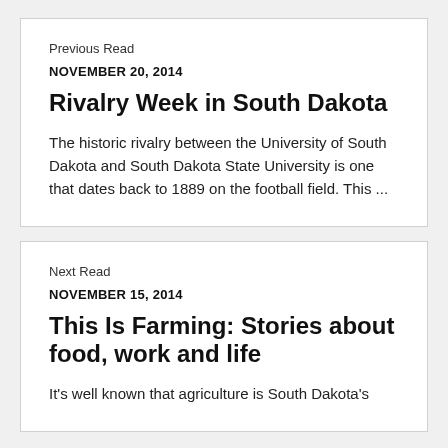Previous Read
NOVEMBER 20, 2014
Rivalry Week in South Dakota
The historic rivalry between the University of South Dakota and South Dakota State University is one that dates back to 1889 on the football field. This ...
Next Read
NOVEMBER 15, 2014
This Is Farming: Stories about food, work and life
It's well known that agriculture is South Dakota's